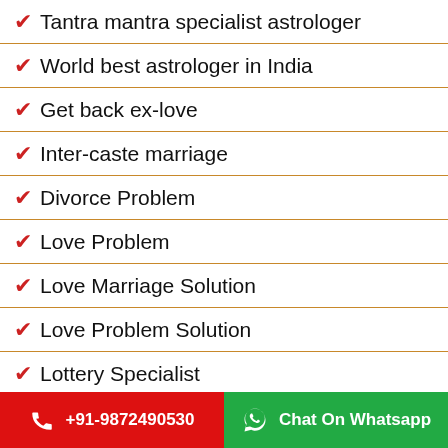Tantra mantra specialist astrologer
World best astrologer in India
Get back ex-love
Inter-caste marriage
Divorce Problem
Love Problem
Love Marriage Solution
Love Problem Solution
Lottery Specialist
+91-9872490530   Chat On Whatsapp